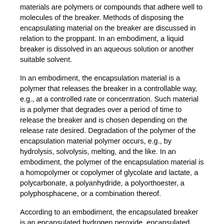materials are polymers or compounds that adhere well to molecules of the breaker. Methods of disposing the encapsulating material on the breaker are discussed in relation to the proppant. In an embodiment, a liquid breaker is dissolved in an aqueous solution or another suitable solvent.
In an embodiment, the encapsulation material is a polymer that releases the breaker in a controllable way, e.g., at a controlled rate or concentration. Such material is a polymer that degrades over a period of time to release the breaker and is chosen depending on the release rate desired. Degradation of the polymer of the encapsulation material polymer occurs, e.g., by hydrolysis, solvolysis, melting, and the like. In an embodiment, the polymer of the encapsulation material is a homopolymer or copolymer of glycolate and lactate, a polycarbonate, a polyanhydride, a polyorthoester, a polyphosphacene, or a combination thereof.
According to an embodiment, the encapsulated breaker is an encapsulated hydrogen peroxide, encapsulated metal peroxides (e.g., sodium peroxide, calcium peroxide, zinc peroxide, and the like) or any of the peracids or other breaker herein.
In an embodiment, the treated water also includes a fluid. The fluid is an aqueous liquid that includes water, brine, mineral acid, organic acid, or a combination comprising at least one of the foregoing. The brine is, for example, seawater, produced water, completion brine, or a combination